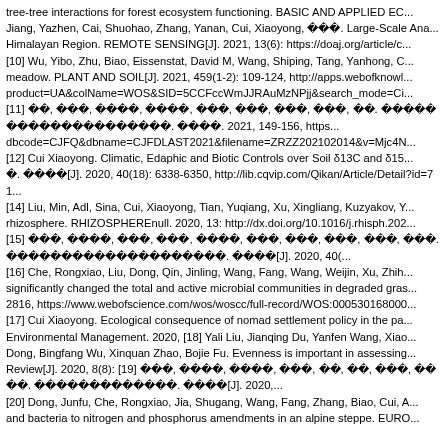tree-tree interactions for forest ecosystem functioning. BASIC AND APPLIED EC... Jiang, Yazhen, Cai, Shuohao, Zhang, Yanan, Cui, Xiaoyong, 等等等. Large-Scale Ana... Himalayan Region. REMOTE SENSING[J]. 2021, 13(6): https://doaj.org/article/c... [10] Wu, Yibo, Zhu, Biao, Eissenstat, David M, Wang, Shiping, Tang, Yanhong, C... meadow. PLANT AND SOIL[J]. 2021, 459(1-2): 109-124, http://apps.webofknowl... product=UA&colName=WOS&SID=5CCFccWmJJRAuMzNPjj&search_mode=Ci... [11] 等等, 等等等, 等等等等, 等等等等, 等等等, 等等等, 等等等, 等等等, 等等. 等等等等等等等等等等等等等等等等等等等等等等等等等. 等等等等. 2021, 149-156, https... dbcode=CJFQ&dbname=CJFDLAST2021&filename=ZRZZ202102014&v=Mjc4N... [12] Cui Xiaoyong. Climatic, Edaphic and Biotic Controls over Soil δ13C and δ15... 等. 等等等等[J]. 2020, 40(18): 6338-6350, http://lib.cqvip.com/Qikan/Article/Detail?id=71... [14] Liu, Min, Adl, Sina, Cui, Xiaoyong, Tian, Yuqiang, Xu, Xingliang, Kuzyakov, Y... rhizosphere. RHIZOSPHEREnull. 2020, 13: http://dx.doi.org/10.1016/j.rhisph.202... [15] 等等等, 等等等等, 等等等, 等等等, 等等等等, 等等等, 等等等, 等等等, 等等等, 等等等. 等等等等等等等等等等等等等等等等等等等等等. 等等等等[J]. 2020, 40(... [16] Che, Rongxiao, Liu, Dong, Qin, Jinling, Wang, Fang, Wang, Weijin, Xu, Zhih... significantly changed the total and active microbial communities in degraded gras... 2816, https://www.webofscience.com/wos/woscc/full-record/WOS:000530168000... [17] Cui Xiaoyong. Ecological consequence of nomad settlement policy in the pa... Environmental Management. 2020, [18] Yali Liu, Jianqing Du, Yanfen Wang, Xiao... Dong, Bingfang Wu, Xinquan Zhao, Bojie Fu. Evenness is important in assessing... Review[J]. 2020, 8(8): [19] 等等等, 等等等等, 等等等等, 等等等, 等等, 等等, 等等等, 等等等等. 等等等等等等等等等等等等等. 等等等等[J]. 2020,... [20] Dong, Junfu, Che, Rongxiao, Jia, Shugang, Wang, Fang, Zhang, Biao, Cui, A... and bacteria to nitrogen and phosphorus amendments in an alpine steppe. EURO...